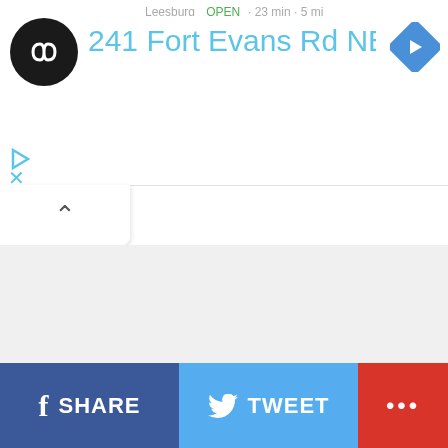241 Fort Evans Rd NE, Leesb
[Figure (screenshot): Mobile app interface showing a location address bar with logo, address text '241 Fort Evans Rd NE, Leesb', navigation arrow icon, play and close buttons, a panel tab with chevron up, and social sharing footer with SHARE, TWEET, and more buttons]
SHARE  TWEET  ...